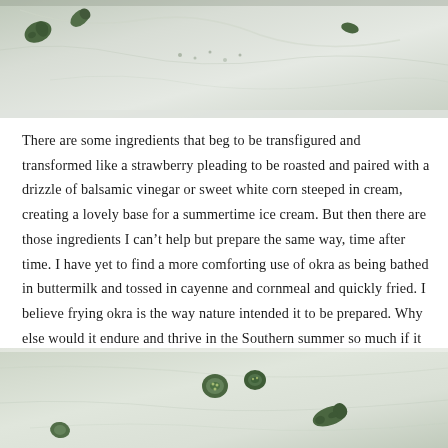[Figure (photo): Top photograph showing green okra pieces scattered on a light marble surface, viewed from above]
There are some ingredients that beg to be transfigured and transformed like a strawberry pleading to be roasted and paired with a drizzle of balsamic vinegar or sweet white corn steeped in cream, creating a lovely base for a summertime ice cream. But then there are those ingredients I can't help but prepare the same way, time after time. I have yet to find a more comforting use of okra as being bathed in buttermilk and tossed in cayenne and cornmeal and quickly fried. I believe frying okra is the way nature intended it to be prepared. Why else would it endure and thrive in the Southern summer so much if it didn't love to sizzle?
[Figure (photo): Bottom photograph showing sliced green okra pieces on a light marble surface]